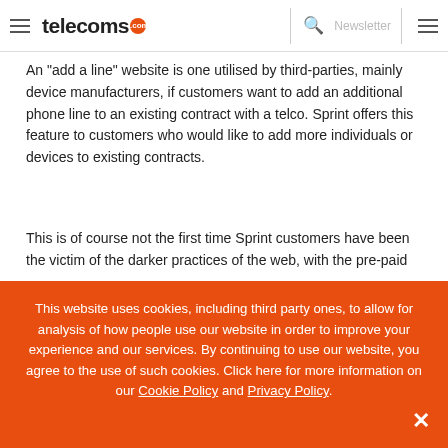telecoms.com | Newsletter
An "add a line" website is one utilised by third-parties, mainly device manufacturers, if customers want to add an additional phone line to an existing contract with a telco. Sprint offers this feature to customers who would like to add more individuals or devices to existing contracts.
This is of course not the first time Sprint customers have been the victim of the darker practices of the web, with the pre-paid
This website uses cookies, including third party ones, to allow for analysis of how people use our website in order to improve your experience and our services. By continuing to use our website, you agree to the use of such cookies. Click here for more information on our Cookie Policy and Privacy Policy.